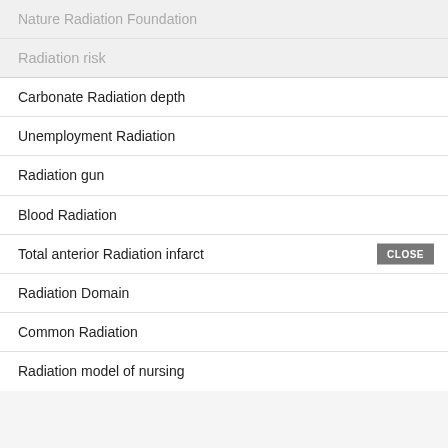Nature Radiation Foundation
Radiation risk
Carbonate Radiation depth
Unemployment Radiation
Radiation gun
Blood Radiation
Total anterior Radiation infarct
Radiation Domain
Common Radiation
Radiation model of nursing